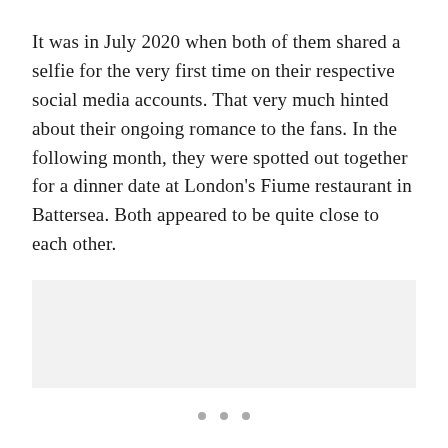It was in July 2020 when both of them shared a selfie for the very first time on their respective social media accounts. That very much hinted about their ongoing romance to the fans. In the following month, they were spotted out together for a dinner date at London's Fiume restaurant in Battersea. Both appeared to be quite close to each other.
[Figure (other): Light gray placeholder image area below the text paragraph]